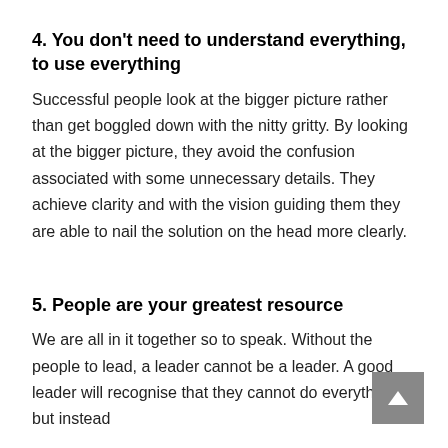4. You don't need to understand everything, to use everything
Successful people look at the bigger picture rather than get boggled down with the nitty gritty. By looking at the bigger picture, they avoid the confusion associated with some unnecessary details. They achieve clarity and with the vision guiding them they are able to nail the solution on the head more clearly.
5. People are your greatest resource
We are all in it together so to speak. Without the people to lead, a leader cannot be a leader. A good leader will recognise that they cannot do everything but instead